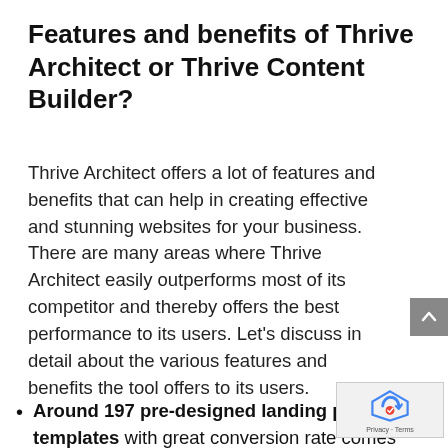Features and benefits of Thrive Architect or Thrive Content Builder?
Thrive Architect offers a lot of features and benefits that can help in creating effective and stunning websites for your business. There are many areas where Thrive Architect easily outperforms most of its competitor and thereby offers the best performance to its users. Let's discuss in detail about the various features and benefits the tool offers to its users.
Around 197 pre-designed landing page templates with great conversion rate comes